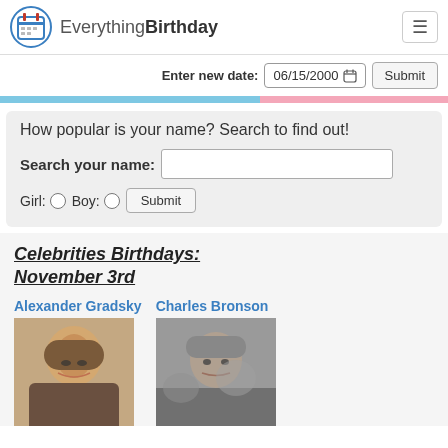EverythingBirthday
Enter new date: 06/15/2000  Submit
How popular is your name? Search to find out!
Search your name:
Girl:  Boy:  Submit
Celebrities Birthdays: November 3rd
Alexander Gradsky
[Figure (photo): Photo of Alexander Gradsky, an older man with long gray hair and glasses]
Charles Bronson
[Figure (photo): Photo of Charles Bronson, older man with gray hair in a crowd]